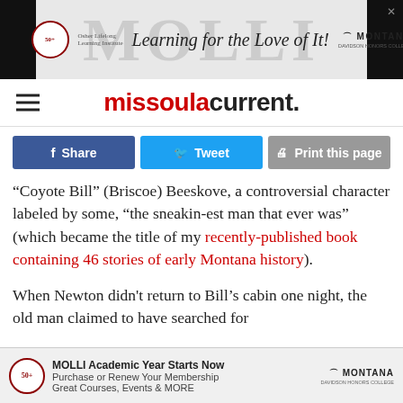[Figure (infographic): MOLLI (Osher Lifelong Learning Institute) advertisement banner with tagline 'Learning for the Love of It!' and Montana Davidson Honors College logo. Black panels on left and right edges.]
missoula current.
Share
Tweet
Print this page
“Coyote Bill” (Briscoe) Beeskove, a controversial character labeled by some, “the sneakin-est man that ever was” (which became the title of my recently-published book containing 46 stories of early Montana history).
When Newton didn’t return to Bill‘s cabin one night, the old man claimed to have searched for
[Figure (infographic): MOLLI Academic Year advertisement. Text: 'MOLLI Academic Year Starts Now', 'Purchase or Renew Your Membership', 'Great Courses, Events & MORE'. Includes Osher Lifelong Learning Institute logo and Montana logo.]